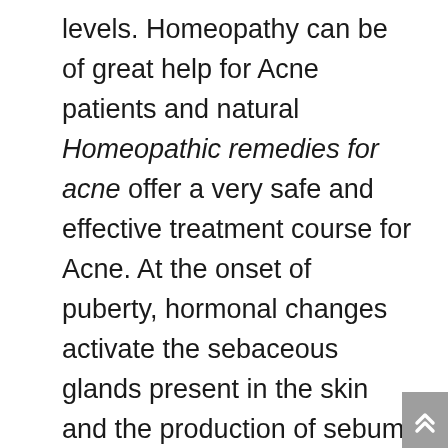levels. Homeopathy can be of great help for Acne patients and natural Homeopathic remedies for acne offer a very safe and effective treatment course for Acne. At the onset of puberty, hormonal changes activate the sebaceous glands present in the skin and the production of sebum or oily secretion from these glands triggers Acne formation. Acne can appear in various forms on the skin like small red-coloured elevations (papules), eruptions containing pus (pustules), fluid containing deep sac like eruptions (cysts), or thick, hard eruptions (nodules). The intensity of Acne varies from person to person, from the mild